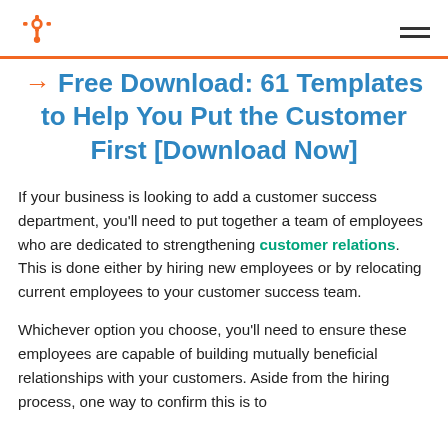HubSpot logo and navigation
Free Download: 61 Templates to Help You Put the Customer First [Download Now]
If your business is looking to add a customer success department, you'll need to put together a team of employees who are dedicated to strengthening customer relations. This is done either by hiring new employees or by relocating current employees to your customer success team.
Whichever option you choose, you'll need to ensure these employees are capable of building mutually beneficial relationships with your customers. Aside from the hiring process, one way to confirm this is to